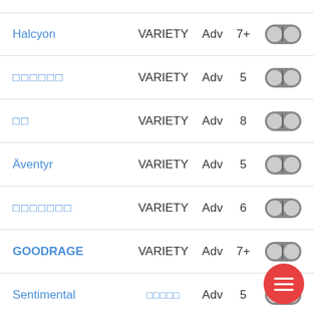Halcyon | VARIETY | Adv | 7+
□□□□□□ | VARIETY | Adv | 5
□□ | VARIETY | Adv | 8
Äventyr | VARIETY | Adv | 5
□□□□□□□ | VARIETY | Adv | 6
GOODRAGE | VARIETY | Adv | 7+
Sentimental | □□□□□ | Adv | 5